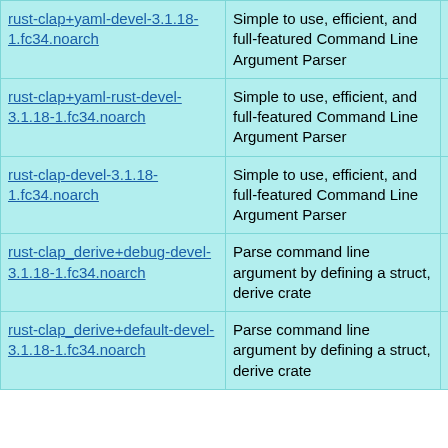| rust-clap+yaml-devel-3.1.18-1.fc34.noarch | Simple to use, efficient, and full-featured Command Line Argument Parser | Fedora 34 updates for aarch64 |
| rust-clap+yaml-rust-devel-3.1.18-1.fc34.noarch | Simple to use, efficient, and full-featured Command Line Argument Parser | Fedora 34 updates for aarch64 |
| rust-clap-devel-3.1.18-1.fc34.noarch | Simple to use, efficient, and full-featured Command Line Argument Parser | Fedora 34 updates for aarch64 |
| rust-clap_derive+debug-devel-3.1.18-1.fc34.noarch | Parse command line argument by defining a struct, derive crate | Fedora 34 updates for aarch64 |
| rust-clap_derive+default-devel-3.1.18-1.fc34.noarch | Parse command line argument by defining a struct, derive crate | Fedora 34 updates for aarch64 |